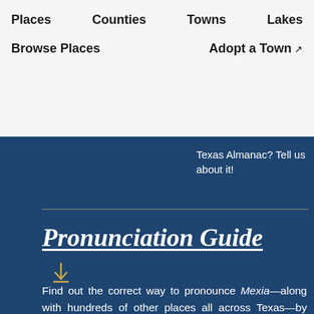Places   Counties   Towns   Lakes
Browse Places   Adopt a Town
Texas Almanac? Tell us about it!
Pronunciation Guide
Find out the correct way to pronounce Mexia—along with hundreds of other places all across Texas—by downloading our helpful Pronunciation Guide (.pdf file)